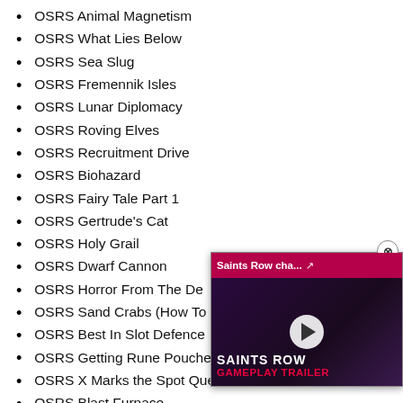OSRS Animal Magnetism
OSRS What Lies Below
OSRS Sea Slug
OSRS Fremennik Isles
OSRS Lunar Diplomacy
OSRS Roving Elves
OSRS Recruitment Drive
OSRS Biohazard
OSRS Fairy Tale Part 1
OSRS Gertrude's Cat
OSRS Holy Grail
OSRS Dwarf Cannon
OSRS Horror From The De…
OSRS Sand Crabs (How To…
OSRS Best In Slot Defence…
OSRS Getting Rune Pouche…
OSRS X Marks the Spot Quest
OSRS Blast Furnace
OSRS Zulrah
[Figure (screenshot): Video overlay showing Saints Row gameplay trailer with play button, pink/purple background, and close button]